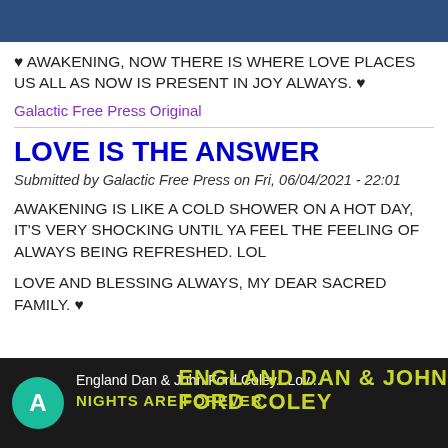[Figure (other): Dark blue horizontal banner bar at the top of the page]
♥ AWAKENING, NOW THERE IS WHERE LOVE PLACES US ALL AS NOW IS PRESENT IN JOY ALWAYS. ♥
Galactic Free Press Original
LOVE IS THE ANSWER
Submitted by Galactic Free Press on Fri, 06/04/2021 - 22:01
AWAKENING IS LIKE A COLD SHOWER ON A HOT DAY, IT'S VERY SHOCKING UNTIL YA FEEL THE FEELING OF ALWAYS BEING REFRESHED. LOL
LOVE AND BLESSING ALWAYS, MY DEAR SACRED FAMILY. ♥
[Figure (screenshot): Dark background image showing a teal avatar circle with letter A, text 'England Dan & John Ford Coley...Lov...' in white, and 'NIGHTS ARE FOREVER' in yellow-green text overlay with album/artist branding]